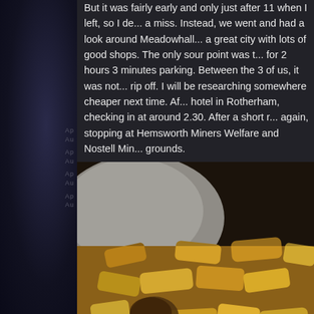But it was fairly early and only just after 11 when I left, so I de... a miss. Instead, we went and had a look around Meadowhall... a great city with lots of good shops. The only sour point was t... for 2 hours 3 minutes parking. Between the 3 of us, it was not... rip off. I will be researching somewhere cheaper next time. Af... hotel in Rotherham, checking in at around 2.30. After a short r... again, stopping at Hemsworth Miners Welfare and Nostell Min... grounds.
[Figure (photo): A close-up photo of roasted/fried potato chunks with herbs, served in a white bowl or plate. The potatoes are golden brown and appear to be seasoned with herbs.]